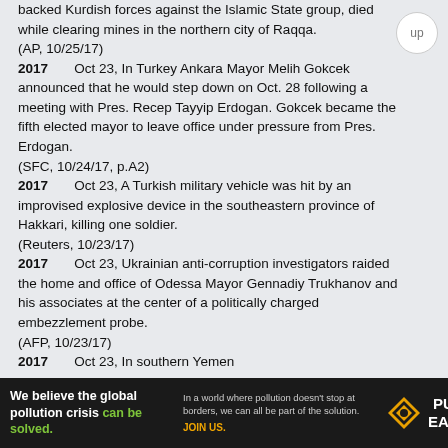backed Kurdish forces against the Islamic State group, died while clearing mines in the northern city of Raqqa.
(AP, 10/25/17)
2017      Oct 23, In Turkey Ankara Mayor Melih Gokcek announced that he would step down on Oct. 28 following a meeting with Pres. Recep Tayyip Erdogan. Gokcek became the fifth elected mayor to leave office under pressure from Pres. Erdogan.
(SFC, 10/24/17, p.A2)
2017      Oct 23, A Turkish military vehicle was hit by an improvised explosive device in the southeastern province of Hakkari, killing one soldier.
(Reuters, 10/23/17)
2017      Oct 23, Ukrainian anti-corruption investigators raided the home and office of Odessa Mayor Gennadiy Trukhanov and his associates at the center of a politically charged embezzlement probe.
(AFP, 10/23/17)
2017      Oct 23, In southern Yemen
[Figure (other): Advertisement banner for Pure Earth: 'We believe the global pollution crisis can be solved. In a world where pollution doesn't stop at borders, we can all be part of the solution. JOIN US.' with Pure Earth logo.]